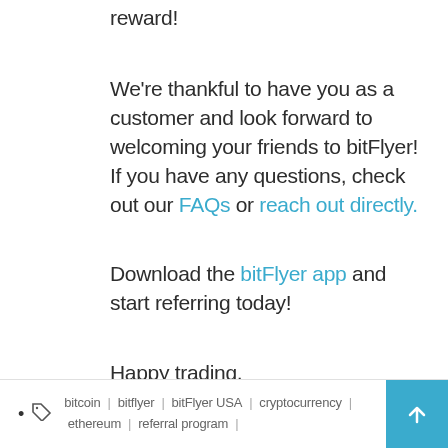reward!
We're thankful to have you as a customer and look forward to welcoming your friends to bitFlyer! If you have any questions, check out our FAQs or reach out directly.
Download the bitFlyer app and start referring today!
Happy trading,
The bitFlyer USA Team
bitcoin | bitflyer | bitFlyer USA | cryptocurrency | ethereum | referral program